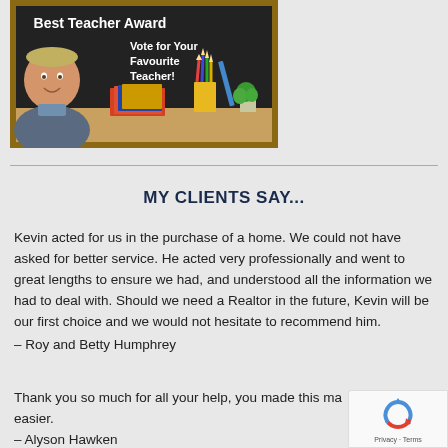[Figure (photo): Best Teacher Award banner with chalkboard background, text 'Best Teacher Award - Vote for Your Favourite Teacher!' with a smiling man, books, pencils and plant.]
MY CLIENTS SAY...
Kevin acted for us in the purchase of a home. We could not have asked for better service. He acted very professionally and went to great lengths to ensure we had, and understood all the information we had to deal with. Should we need a Realtor in the future, Kevin will be our first choice and we would not hesitate to recommend him.
– Roy and Betty Humphrey
Thank you so much for all your help, you made this major event easier.
– Alyson Hawken